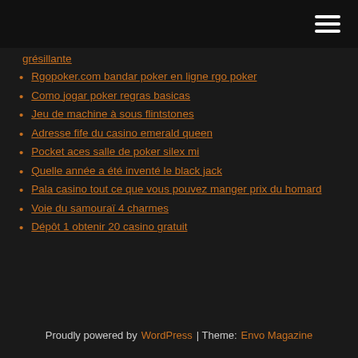[Navigation bar with hamburger menu]
grésillante
Rgopoker.com bandar poker en ligne rgo poker
Como jogar poker regras basicas
Jeu de machine à sous flintstones
Adresse fife du casino emerald queen
Pocket aces salle de poker silex mi
Quelle année a été inventé le black jack
Pala casino tout ce que vous pouvez manger prix du homard
Voie du samouraï 4 charmes
Dépôt 1 obtenir 20 casino gratuit
Proudly powered by WordPress | Theme: Envo Magazine